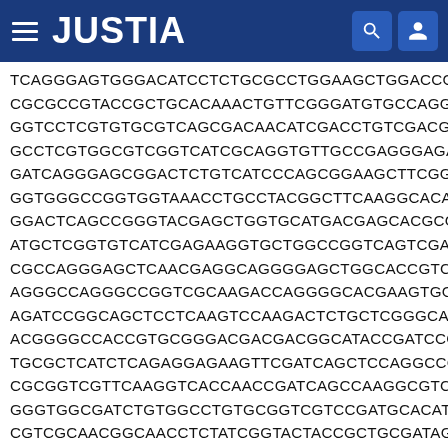JUSTIA
TCAGGGAGTGGGACATCCTCTGCGCCTGGAAGCTGGACCGAC CGCGCCGTACCGCTGCACAAACTGTTCGGGATGTGCCAGGAC GGTCCTCGTGTGCGTCAGCGACAACATCGACCTGTCGACGTG GCCTCGTGGCGTCGGTCATCGCAGGTGTTGCCGAGGGAGAG GATCAGGGAGCGGACTCTGTCATCCCAGCGGAAGCTTCGGGA GGTGGGCCGGTGGTAAACCTGCCTACGGCTTCAAGGCACAGC GGACTCAGCCGGGTACGAGCTGGTGCATGACGAGCACGCGG ATGCTCGGTGTCATCGAGAAGGTGCTGGCCGGTCAGTCGACG CGCCAGGGAGCTCAACGAGGCAGGGGAGCTGGCACCGTCCG AGGGCCAGGGCCGGTCGCAAGACCAGGGGCACGAAGTGGAC AGATCCGGCAGCTCCTCAAGTCCAAGACTCTGCTCGGGCACG ACGGGGCCACCGTGCGGGACGACGACGGCATACCGATCCGG TGCGCTCATCTCAGAGGAGAAGTTCGATCAGCTCCAGGCCGC CGCGGTCGTTCAAGGTCACCAACCGATCAGCCAAGGCGTCCC GGGTGGCGATCTGTGGCCTGTGCGGTCGTCCGATGCACATAC CGTCGCAACGGCAACCTCTATCGGTACTACCGCTGCGATAGCC TCCGACGCGCCCCTGCCCCCCCTGCAACAGCCCTCCAACAT